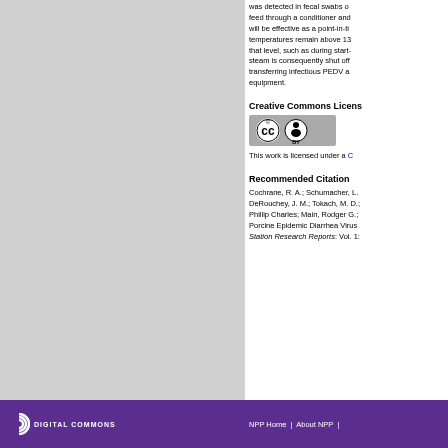was detected in fecal swabs of feed through a conditioner and will be effective as a point-in-ti temperatures remain above 13 that level, such as during start- steam is consequently shut off transferring infectious PEDV a equipment.
Creative Commons License
[Figure (logo): Creative Commons BY license badge]
This work is licensed under a C
Recommended Citation
Cochrane, R. A.; Schumacher, L. DeRouchey, J. M.; Tokach, M. D.; Phillip Charles; Main, Rodger G.; Porcine Epidemic Diarrhea Virus Station Research Reports: Vol. 1:
NPP Home  |  About NPP  |